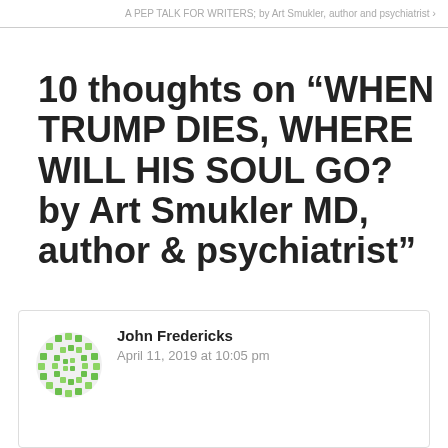A PEP TALK FOR WRITERS; by Art Smukler, author and psychiatrist ›
10 thoughts on “WHEN TRUMP DIES, WHERE WILL HIS SOUL GO? by Art Smukler MD, author & psychiatrist”
John Fredericks
April 11, 2019 at 10:05 pm